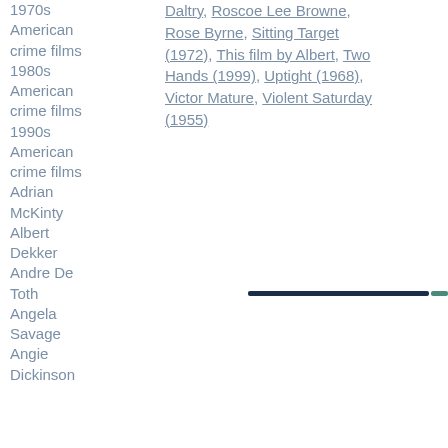1970s American crime films
1980s American crime films
1990s American crime films
Adrian McKinty
Albert Dekker
Andre De Toth
Angela Savage
Angie Dickinson
Daltry, Roscoe Lee Browne, Rose Byrne, Sitting Target (1972), This film by Albert, Two Hands (1999), Uptight (1968), Victor Mature, Violent Saturday (1955)